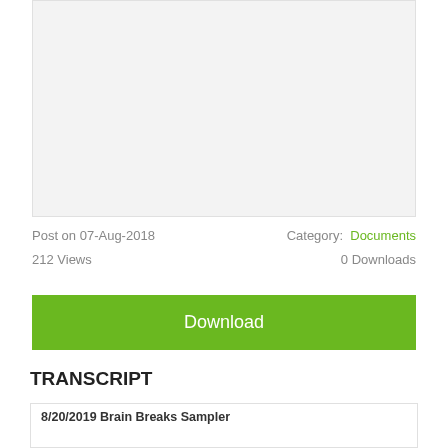[Figure (other): Light gray preview/thumbnail area for a document]
Post on 07-Aug-2018
Category: Documents
212 Views
0 Downloads
Download
TRANSCRIPT
8/20/2019 Brain Breaks Sampler